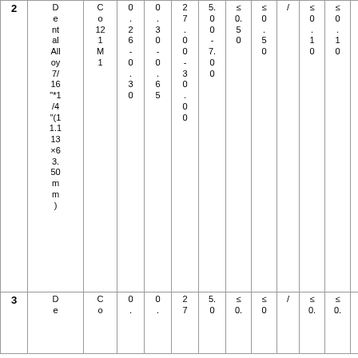|  |  |  | 0.26-0.30 | 0.30-0.65 | 27.0-0-30.00 | 50.00-7.00 | ≤0.50 | ≤0.50 | / | ≤0.10 | ≤0.10 | ≤0.50 |
| --- | --- | --- | --- | --- | --- | --- | --- | --- | --- | --- | --- | --- |
| 2 | Dental Alloy 7/16 "*1/4"(11.13×63.50 mm) | Co121M1 | 0.26-0.30 | 0.30-0.65 | 27.0-0-30.00 | 50.00-7.00 | ≤0.50 | ≤0.50 | / | ≤0.10 | ≤0.10 | ≤0.50 |
| 3 | De... | Co... | 0. | 0. | 27 | 50. | ≤0. | ≤0 | / | ≤0. | ≤0. | ≤0. |